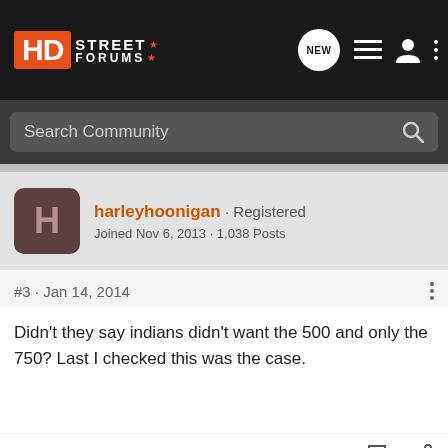HD Street Forums - navigation bar with logo, new posts icon, list icon, user icon, more options
Search Community
harleyhoonigan · Registered
Joined Nov 6, 2013 · 1,038 Posts
#3 · Jan 14, 2014
Didn't they say indians didn't want the 500 and only the 750? Last I checked this was the case.